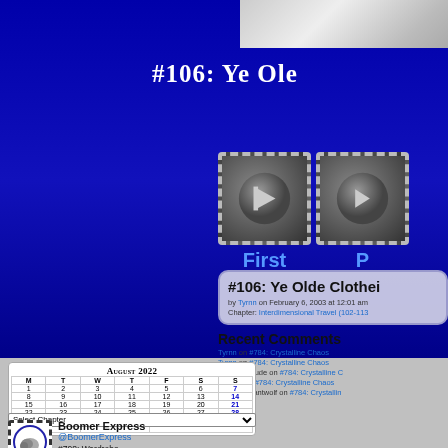[Figure (screenshot): Comic strip panel showing manga-style characters, partially visible at top]
#106: Ye Olde Clothei
[Figure (illustration): Navigation stamp buttons: First and Previous, with play-button icons]
#106: Ye Olde Clothei
by Tyrnn on February 6, 2003 at 12:01 am
Chapter: Interdimensional Travel (102-113)
Recent Comments
Tyrnn on #784: Crystalline Chaos
Tyrnn on #784: Crystalline Chaos
DarkwingDude on #784: Crystalline C
Eradan on #784: Crystalline Chaos
Theobservantwolf on #784: Crystallin
| M | T | W | T | F | S | S |
| --- | --- | --- | --- | --- | --- | --- |
| 1 | 2 | 3 | 4 | 5 | 6 | 7 |
| 8 | 9 | 10 | 11 | 12 | 13 | 14 |
| 15 | 16 | 17 | 18 | 19 | 20 | 21 |
| 22 | 23 | 24 | 25 | 26 | 27 | 28 |
| 29 | 30 | 31 |  |  |  |  |
August 2022
« Jul
Select Chapter
Boomer Express
@BoomerExpress
#798: Wardrobe Malfunctions